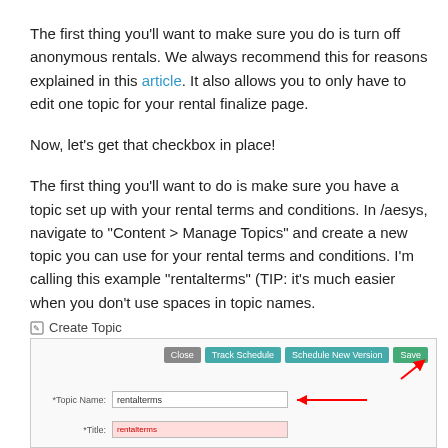The first thing you'll want to make sure you do is turn off anonymous rentals. We always recommend this for reasons explained in this article. It also allows you to only have to edit one topic for your rental finalize page.
Now, let's get that checkbox in place!
The first thing you'll want to do is make sure you have a topic set up with your rental terms and conditions. In /aesys, navigate to "Content > Manage Topics" and create a new topic you can use for your rental terms and conditions. I'm calling this example "rentalterms" (TIP: it's much easier when you don't use spaces in topic names.
[Figure (screenshot): Screenshot of a 'Create Topic' form interface showing Topic Name field filled with 'rentalterms' with a red arrow pointing to it, and buttons: Close, Track Schedule, Schedule New Version, Save with a red arrow pointing to Save button.]